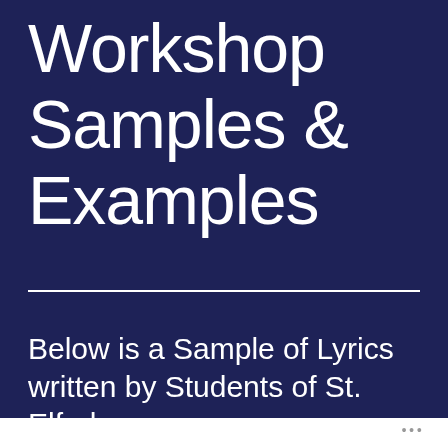Workshop Samples & Examples
Below is a Sample of Lyrics written by Students of St. Elfod